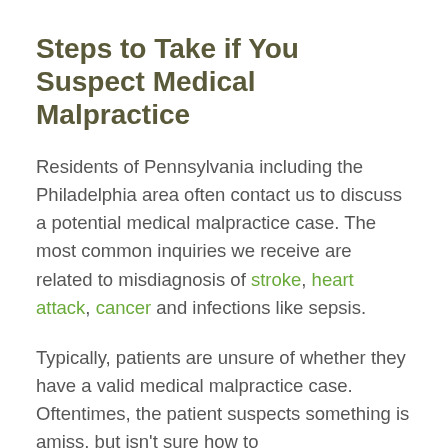Steps to Take if You Suspect Medical Malpractice
Residents of Pennsylvania including the Philadelphia area often contact us to discuss a potential medical malpractice case. The most common inquiries we receive are related to misdiagnosis of stroke, heart attack, cancer and infections like sepsis.
Typically, patients are unsure of whether they have a valid medical malpractice case. Oftentimes, the patient suspects something is amiss, but isn't sure how to